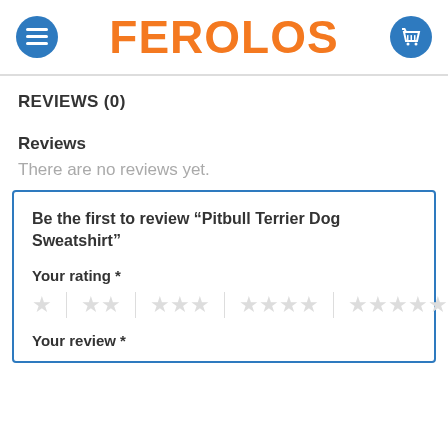FEROLOS
REVIEWS (0)
Reviews
There are no reviews yet.
Be the first to review “Pitbull Terrier Dog Sweatshirt”
Your rating *
Your review *